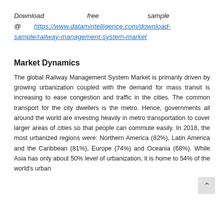Download free sample @ https://www.datamintelligence.com/download-sample/railway-management-system-market
Market Dynamics
The global Railway Management System Market is primarily driven by growing urbanization coupled with the demand for mass transit is increasing to ease congestion and traffic in the cities. The common transport for the city dwellers is the metro. Hence, governments all around the world are investing heavily in metro transportation to cover larger areas of cities so that people can commute easily. In 2018, the most urbanized regions were: Northern America (82%), Latin America and the Caribbean (81%), Europe (74%) and Oceania (68%). While Asia has only about 50% level of urbanization, it is home to 54% of the world's urban